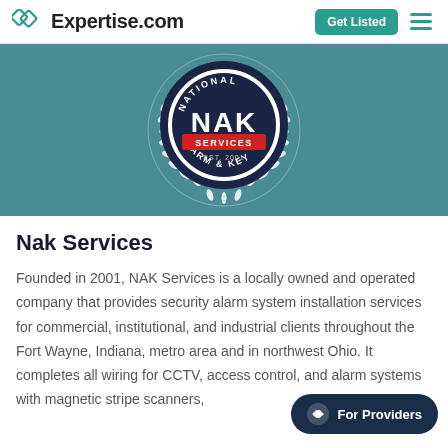Expertise.com — Get Listed
[Figure (logo): NAK Services (National Alarm & Key) circular logo with laurel wreath on teal banner background, white circle with dark navy ring, red ribbon reading SERVICES, EST. 2001, NAK text in center]
Nak Services
Founded in 2001, NAK Services is a locally owned and operated company that provides security alarm system installation services for commercial, institutional, and industrial clients throughout the Fort Wayne, Indiana, metro area and in northwest Ohio. It completes all wiring for CCTV, access control, and alarm systems with magnetic stripe scanners,